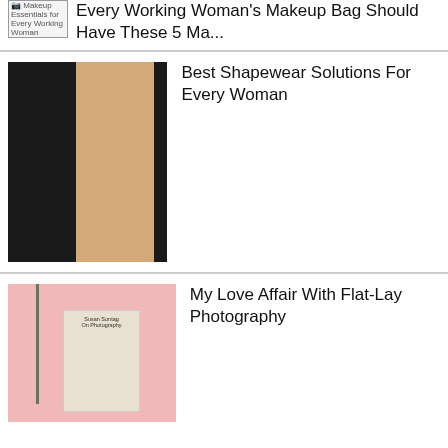[Figure (photo): Thumbnail image placeholder for Makeup Essentials article]
Every Working Woman's Makeup Bag Should Have These 5 Ma...
[Figure (photo): Three women in shapewear/bodysuits displayed side by side]
Best Shapewear Solutions For Every Woman
[Figure (photo): Flat-lay photography with pink background, rose stem, and Susan Sontag On Photography book]
My Love Affair With Flat-Lay Photography